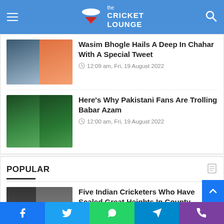the CRICKET LOUNGE
Wasim Bhogle Hails A Deep In Chahar With A Special Tweet
12:09 am, Fri, 19 August 2022
Here's Why Pakistani Fans Are Trolling Babar Azam
12:00 am, Fri, 19 August 2022
POPULAR
Five Indian Cricketers Who Have Scaled Great Heights In County Cricket
1:49 pm, Tue, 16 August 2022